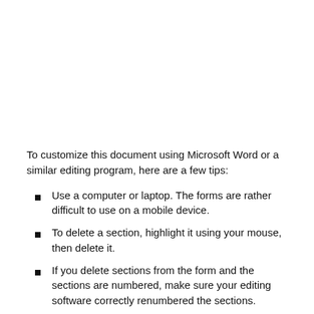To customize this document using Microsoft Word or a similar editing program, here are a few tips:
Use a computer or laptop. The forms are rather difficult to use on a mobile device.
To delete a section, highlight it using your mouse, then delete it.
If you delete sections from the form and the sections are numbered, make sure your editing software correctly renumbered the sections.